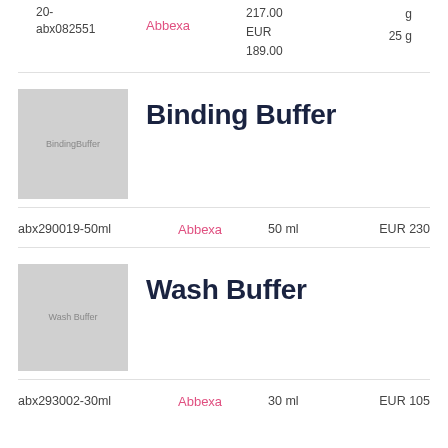| ID | Vendor | Price | Size |
| --- | --- | --- | --- |
| 20-abx082551 | Abbexa | 217.00 EUR
189.00 | g
25 g |
| abx290019-50ml | Abbexa | EUR 230 | 50 ml |
| abx293002-30ml | Abbexa | EUR 105 | 30 ml |
Binding Buffer
Wash Buffer